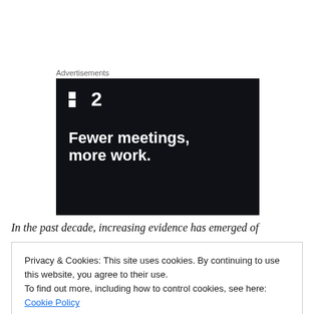Advertisements
[Figure (other): Advertisement banner for a project management tool. Dark navy background with logo showing two squares and the number 2, followed by tagline text 'Fewer meetings, more work.' in bold white text.]
In the past decade, increasing evidence has emerged of
Privacy & Cookies: This site uses cookies. By continuing to use this website, you agree to their use.
To find out more, including how to control cookies, see here: Cookie Policy
Close and accept
the political movements and the strong hand